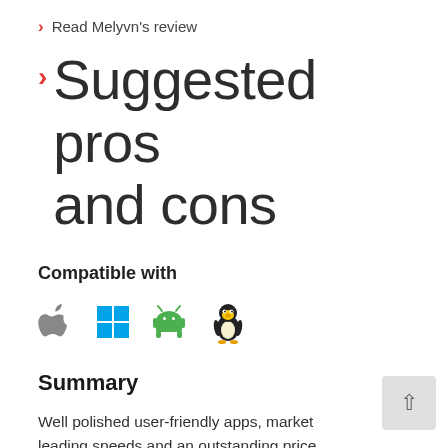Read Melyvn's review
Suggested pros and cons
Compatible with
[Figure (illustration): Four OS compatibility icons: Apple (grey), Windows (blue), Android (green), Linux Tux penguin (black/yellow)]
Summary
Well polished user-friendly apps, market leading speeds and an outstanding price...